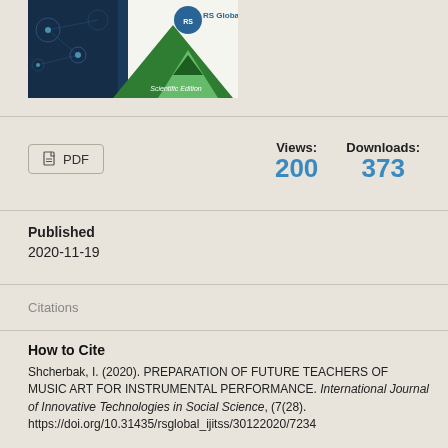[Figure (illustration): Journal cover showing RS Global Scientific Edition with green triangle logo and dark blue background with network graphics]
Views: 200   Downloads: 373
PDF
Published
2020-11-19
Citations
How to Cite
Shcherbak, I. (2020). PREPARATION OF FUTURE TEACHERS OF MUSIC ART FOR INSTRUMENTAL PERFORMANCE. International Journal of Innovative Technologies in Social Science, (7(28). https://doi.org/10.31435/rsglobal_ijitss/30122020/7234